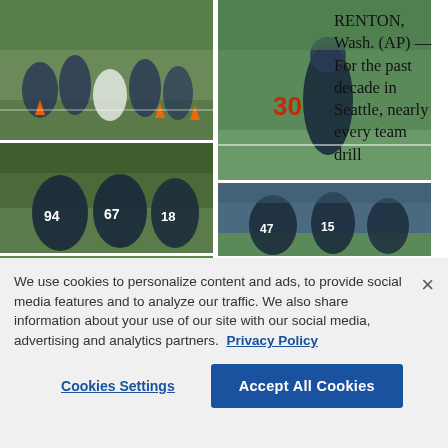[Figure (photo): Seattle Seahawks players running drills at training camp — six photos arranged in a 2-column grid showing practice drills, linemen, and players with jersey numbers including 94, 67, 47, 15, 30]
RENTON, Wash. (AP) — For the past decade in Seattle, nearly every team drill
We use cookies to personalize content and ads, to provide social media features and to analyze our traffic. We also share information about your use of our site with our social media, advertising and analytics partners.  Privacy Policy
Cookies Settings
Accept All Cookies